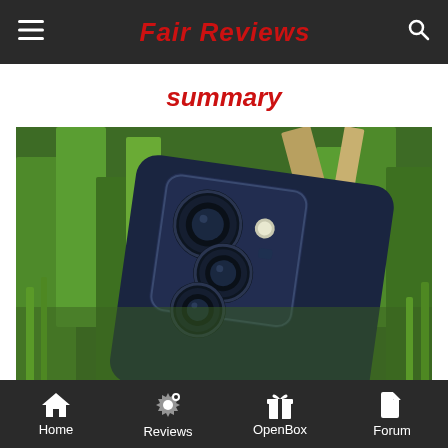Fair Reviews
summary
[Figure (photo): Close-up photo of the back of an LG smartphone showing a triple camera module, placed on green grass]
LG's exit from the mobile phone market is a loss for mobile photography enthusiasts and even for all consumers. LG not
Home  Reviews  OpenBox  Forum